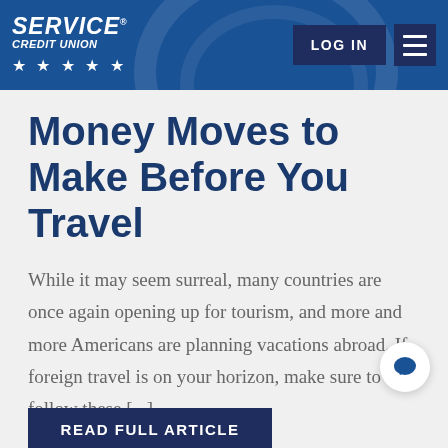SERVICE CREDIT UNION | LOG IN
Money Moves to Make Before You Travel
While it may seem surreal, many countries are once again opening up for tourism, and more and more Americans are planning vacations abroad. If foreign travel is on your horizon, make sure to follow these [...]
READ FULL ARTICLE